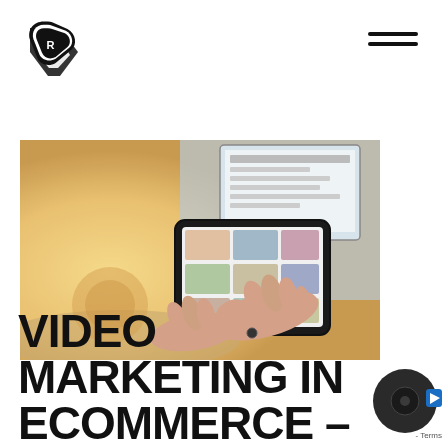[Figure (logo): Black triangular play-button logo with letter R inside]
[Figure (photo): Person using a tablet device with an ecommerce website displayed, laptop visible in background, warm bokeh lighting]
VIDEO MARKETING IN ECOMMERCE – HOW TO
[Figure (other): Dark circular camera/record button icon in bottom right corner]